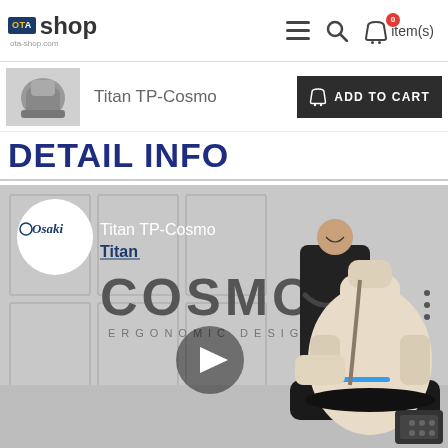OTA shop — ota-shop.com | navigation icons | 0 item(s)
Titan TP-Cosmo
ADD TO CART
DETAIL INFO
[Figure (screenshot): Video thumbnail showing the Osaki Titan TP-Cosmo massage chair product video. Features Osaki logo, Titan branding, large text 'COSMO', 'ERGONOMIC DESIGN', a play button overlay, a man in suit, and a cream-colored massage chair on the right.]